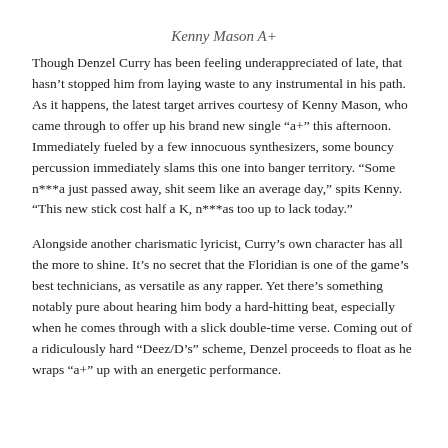Kenny Mason A+
Though Denzel Curry has been feeling underappreciated of late, that hasn't stopped him from laying waste to any instrumental in his path. As it happens, the latest target arrives courtesy of Kenny Mason, who came through to offer up his brand new single “a+” this afternoon. Immediately fueled by a few innocuous synthesizers, some bouncy percussion immediately slams this one into banger territory. “Some n***a just passed away, shit seem like an average day,” spits Kenny. “This new stick cost half a K, n***as too up to lack today.”
Alongside another charismatic lyricist, Curry’s own character has all the more to shine. It’s no secret that the Floridian is one of the game’s best technicians, as versatile as any rapper. Yet there’s something notably pure about hearing him body a hard-hitting beat, especially when he comes through with a slick double-time verse. Coming out of a ridiculously hard “Deez/D’s” scheme, Denzel proceeds to float as he wraps “a+” up with an energetic performance.